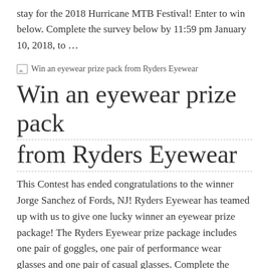stay for the 2018 Hurricane MTB Festival! Enter to win below. Complete the survey below by 11:59 pm January 10, 2018, to …
[Figure (illustration): Broken image placeholder icon with alt text: Win an eyewear prize pack from Ryders Eyewear]
Win an eyewear prize pack from Ryders Eyewear
This Contest has ended congratulations to the winner Jorge Sanchez of Fords, NJ! Ryders Eyewear has teamed up with us to give one lucky winner an eyewear prize package! The Ryders Eyewear prize package includes one pair of goggles, one pair of performance wear glasses and one pair of casual glasses. Complete the survey below …
[Figure (illustration): Broken image placeholder icon with alt text: Win a set of Wild AM tires from Michelin]